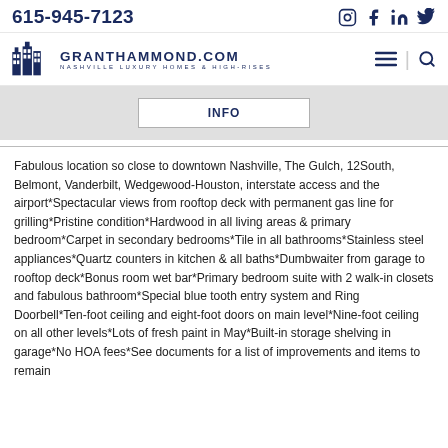615-945-7123
[Figure (logo): GrantHammond.com Nashville Luxury Homes & High-Rises logo with building icon]
INFO
Fabulous location so close to downtown Nashville, The Gulch, 12South, Belmont, Vanderbilt, Wedgewood-Houston, interstate access and the airport*Spectacular views from rooftop deck with permanent gas line for grilling*Pristine condition*Hardwood in all living areas & primary bedroom*Carpet in secondary bedrooms*Tile in all bathrooms*Stainless steel appliances*Quartz counters in kitchen & all baths*Dumbwaiter from garage to rooftop deck*Bonus room wet bar*Primary bedroom suite with 2 walk-in closets and fabulous bathroom*Special blue tooth entry system and Ring Doorbell*Ten-foot ceiling and eight-foot doors on main level*Nine-foot ceiling on all other levels*Lots of fresh paint in May*Built-in storage shelving in garage*No HOA fees*See documents for a list of improvements and items to remain